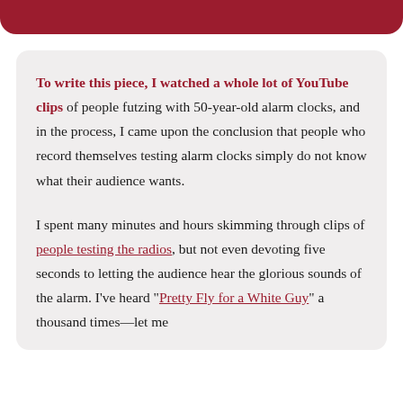To write this piece, I watched a whole lot of YouTube clips of people futzing with 50-year-old alarm clocks, and in the process, I came upon the conclusion that people who record themselves testing alarm clocks simply do not know what their audience wants.
I spent many minutes and hours skimming through clips of people testing the radios, but not even devoting five seconds to letting the audience hear the glorious sounds of the alarm. I've heard "Pretty Fly for a White Guy" a thousand times—let me